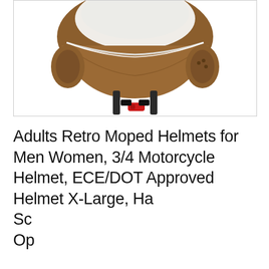[Figure (photo): Cropped photo of a brown leather retro motorcycle helmet with white top, black chin strap and red release clip, shown from below/side angle against white background inside a bordered product image box.]
Adults Retro Moped Helmets for Men Women, 3/4 Motorcycle Helmet, ECE/DOT Approved Helmet X-Large, Ha... Sc... Op...
As an Amazon Associate I earn from qualifying purchases. This website uses the only necessary cookies to ensure you get the best experience on our website. More information